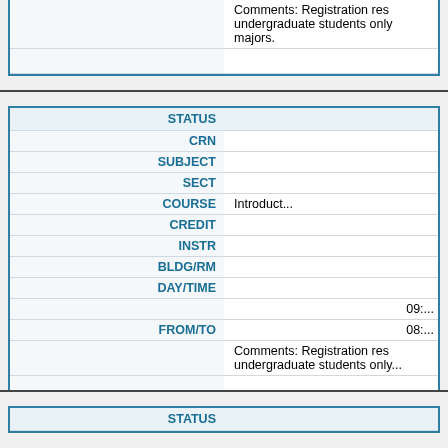|  | Comments: Registration res undergraduate students only majors. |
|  |  |
| STATUS |  |
| --- | --- |
| CRN |  |
| SUBJECT |  |
| SECT |  |
| COURSE | Introduct... |
| CREDIT |  |
| INSTR |  |
| BLDG/RM |  |
| DAY/TIME | 09:... |
| FROM/TO | 08:... |
|  | Comments: Registration res undergraduate students only... |
|  |  |
| STATUS |  |
| --- | --- |